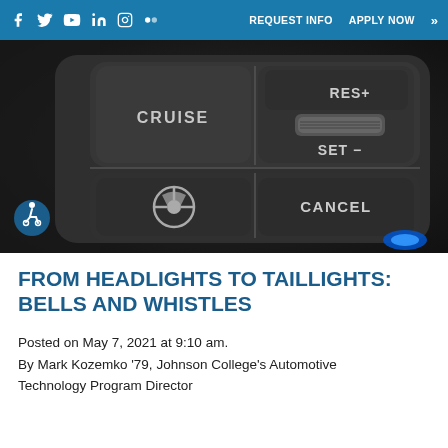Facebook Twitter YouTube LinkedIn Instagram Flickr | REQUEST INFO  APPLY NOW »
[Figure (photo): Close-up photo of a car steering wheel cruise control buttons showing CRUISE label, RES+, SET-, and CANCEL buttons on a dark plastic panel, with a small blue LED light visible at lower right.]
FROM HEADLIGHTS TO TAILLIGHTS: BELLS AND WHISTLES
Posted on May 7, 2021 at 9:10 am.
By Mark Kozemko '79, Johnson College's Automotive Technology Program Director